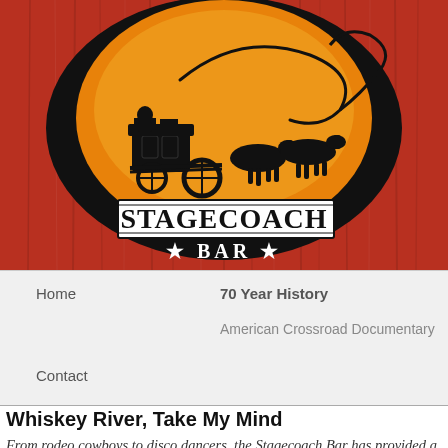[Figure (logo): Stagecoach Bar logo: black oval with orange/yellow circle interior showing silhouette of stagecoach pulled by horses, with lasso above. Banner below reads STAGECOACH in large black serif text, and BAR with stars below that. Set against red painted wood background.]
Home
70 Year History
American Crossroad Documentary
Contact
Whiskey River, Take My Mind
From rodeo cowboys to disco dancers, the Stagecoach Bar has provided a good time for generations.